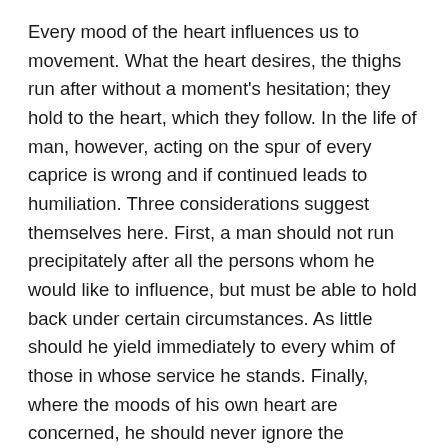Every mood of the heart influences us to movement. What the heart desires, the thighs run after without a moment's hesitation; they hold to the heart, which they follow. In the life of man, however, acting on the spur of every caprice is wrong and if continued leads to humiliation. Three considerations suggest themselves here. First, a man should not run precipitately after all the persons whom he would like to influence, but must be able to hold back under certain circumstances. As little should he yield immediately to every whim of those in whose service he stands. Finally, where the moods of his own heart are concerned, he should never ignore the possibility of inhibition, for this is the basis of human freedom.
Nine in the fourth place means:
Perseverance brings good fortune.